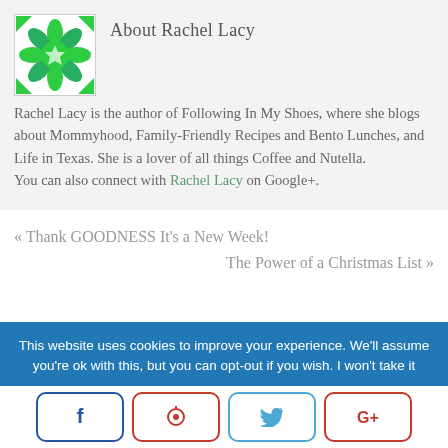About Rachel Lacy
[Figure (logo): Green decorative floral/geometric logo for Rachel Lacy / Following In My Shoes blog]
Rachel Lacy is the author of Following In My Shoes, where she blogs about Mommyhood, Family-Friendly Recipes and Bento Lunches, and Life in Texas. She is a lover of all things Coffee and Nutella. You can also connect with Rachel Lacy on Google+.
« Thank GOODNESS It's a New Week!
The Power of a Christmas List »
This website uses cookies to improve your experience. We'll assume you're ok with this, but you can opt-out if you wish. I won't take it